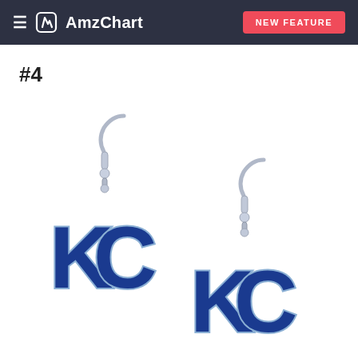≡ AmzChart   NEW FEATURE
#4
[Figure (photo): Two KC Royals (Kansas City) blue enamel earrings with silver fish hook wires, showing the interlocking KC logo in dark navy blue enamel with silver outline detailing. The earrings are photographed on a white background.]